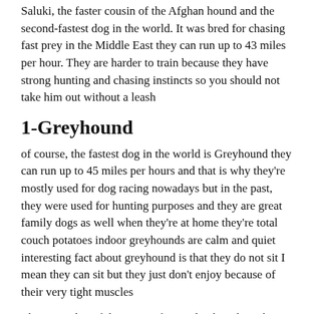Saluki, the faster cousin of the Afghan hound and the second-fastest dog in the world. It was bred for chasing fast prey in the Middle East they can run up to 43 miles per hour. They are harder to train because they have strong hunting and chasing instincts so you should not take him out without a leash
1-Greyhound
of course, the fastest dog in the world is Greyhound they can run up to 45 miles per hours and that is why they're mostly used for dog racing nowadays but in the past, they were used for hunting purposes and they are great family dogs as well when they're at home they're total couch potatoes indoor greyhounds are calm and quiet interesting fact about greyhound is that they do not sit I mean they can sit but they just don't enjoy because of their very tight muscles
This is our list of the top ten fastest dog breeds in the world. For the record, the fastest human Usain Bolt can